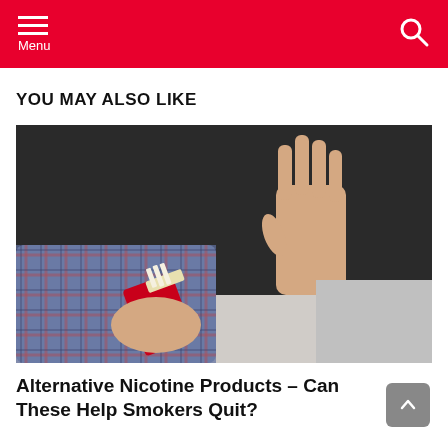Menu
YOU MAY ALSO LIKE
[Figure (photo): A hand offering a red cigarette pack is being refused by another open hand held up in a stop gesture, photographed against a dark background on a white surface.]
Alternative Nicotine Products – Can These Help Smokers Quit?